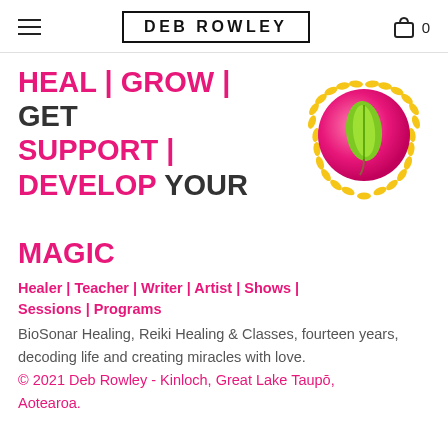DEB ROWLEY 0
HEAL | GROW | GET SUPPORT | DEVELOP YOUR MAGIC
[Figure (illustration): Circular badge/award logo with a pink/magenta gradient circle background, a green leaf in the center, and gold laurel wreath surrounding the circle]
Healer | Teacher | Writer | Artist | Shows | Sessions | Programs
BioSonar Healing, Reiki Healing & Classes, fourteen years, decoding life and creating miracles with love. © 2021 Deb Rowley - Kinloch, Great Lake Taupō, Aotearoa.